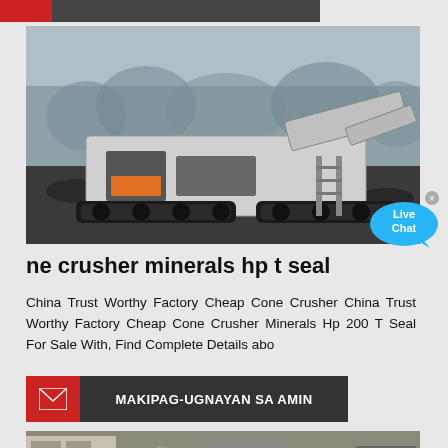[Figure (photo): Mobile cone crusher machine on tracks in a mining/quarry site, dusty environment with forest in background]
ne crusher minerals hp t seal
China Trust Worthy Factory Cheap Cone Crusher China Trust Worthy Factory Cheap Cone Crusher Minerals Hp 200 T Seal For Sale With, Find Complete Details abo
[Figure (infographic): Contact bar with red envelope icon and dark background reading MAKIPAG-UGNAYAN SA AMIN]
[Figure (photo): Industrial crusher/mining equipment photograph at bottom of page]
[Figure (illustration): Live Chat speech bubble icon in blue, top right corner]